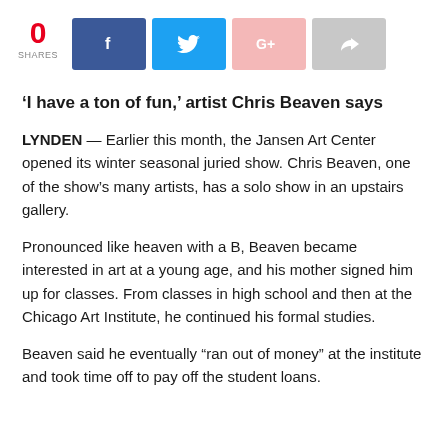[Figure (infographic): Social sharing bar showing 0 shares count in red, followed by four social media buttons: Facebook (dark blue with f icon), Twitter (light blue with bird icon), Google+ (pink with G+ icon), and a share button (gray with arrow icon)]
‘I have a ton of fun,’ artist Chris Beaven says
LYNDEN — Earlier this month, the Jansen Art Center opened its winter seasonal juried show. Chris Beaven, one of the show’s many artists, has a solo show in an upstairs gallery.
Pronounced like heaven with a B, Beaven became interested in art at a young age, and his mother signed him up for classes. From classes in high school and then at the Chicago Art Institute, he continued his formal studies.
Beaven said he eventually “ran out of money” at the institute and took time off to pay off the student loans.